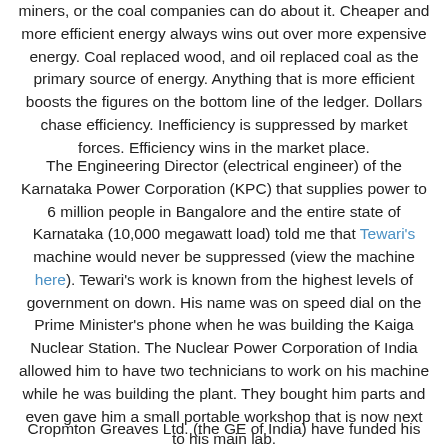miners, or the coal companies can do about it. Cheaper and more efficient energy always wins out over more expensive energy. Coal replaced wood, and oil replaced coal as the primary source of energy. Anything that is more efficient boosts the figures on the bottom line of the ledger. Dollars chase efficiency. Inefficiency is suppressed by market forces. Efficiency wins in the market place.
The Engineering Director (electrical engineer) of the Karnataka Power Corporation (KPC) that supplies power to 6 million people in Bangalore and the entire state of Karnataka (10,000 megawatt load) told me that Tewari's machine would never be suppressed (view the machine here). Tewari's work is known from the highest levels of government on down. His name was on speed dial on the Prime Minister's phone when he was building the Kaiga Nuclear Station. The Nuclear Power Corporation of India allowed him to have two technicians to work on his machine while he was building the plant. They bought him parts and even gave him a small portable workshop that is now next to his main lab.
Cropmton Greaves Ltd. (the GE of India) have funded his